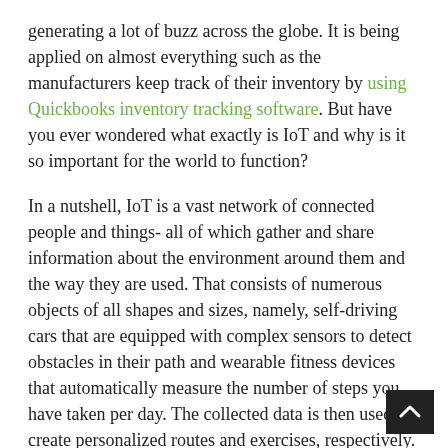generating a lot of buzz across the globe. It is being applied on almost everything such as the manufacturers keep track of their inventory by using Quickbooks inventory tracking software. But have you ever wondered what exactly is IoT and why is it so important for the world to function?
In a nutshell, IoT is a vast network of connected people and things- all of which gather and share information about the environment around them and the way they are used. That consists of numerous objects of all shapes and sizes, namely, self-driving cars that are equipped with complex sensors to detect obstacles in their path and wearable fitness devices that automatically measure the number of steps you have taken per day. The collected data is then used to create personalized routes and exercises, respectively.  Fortune Business Insights™ recently mentioned in its report that the global IoT market is anticipated to reach USD 1,463.19 billion by 2027. It is gaining huge popularity from a wide range of industries,